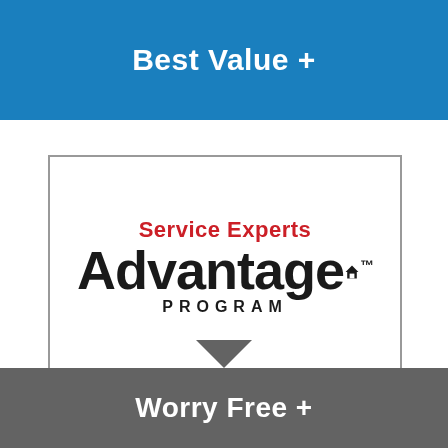Best Value +
[Figure (logo): Service Experts Advantage Program logo with red 'Service Experts' text above large bold black 'Advantage' with house icon and trademark symbol, and 'PROGRAM' in spaced caps below]
Worry Free +